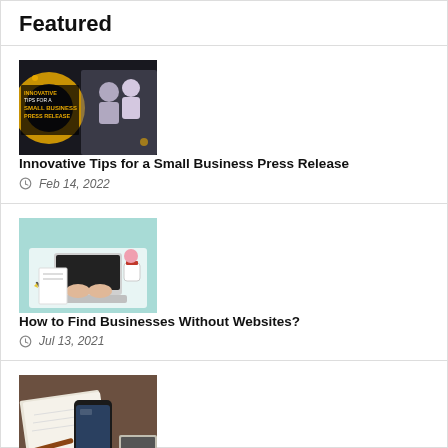Featured
[Figure (photo): Promotional image with text 'Innovative Tips for a Small Business Press Release' overlaid on a dark background with people in office setting]
Innovative Tips for a Small Business Press Release
Feb 14, 2022
[Figure (photo): Top-down view of person typing on laptop on a teal/mint background with office items]
How to Find Businesses Without Websites?
Jul 13, 2021
[Figure (photo): Close-up of phone, notebook, and laptop on a desk with warm tones]
[3 Ways] How to Erase iPhone Without Apple ID?